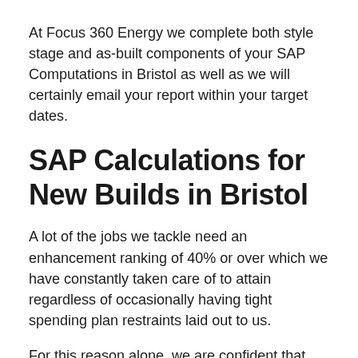At Focus 360 Energy we complete both style stage and as-built components of your SAP Computations in Bristol as well as we will certainly email your report within your target dates.
SAP Calculations for New Builds in Bristol
A lot of the jobs we tackle need an enhancement ranking of 40% or over which we have constantly taken care of to attain regardless of occasionally having tight spending plan restraints laid out to us.
For this reason alone, we are confident that we will not be disappointed in this, but to also